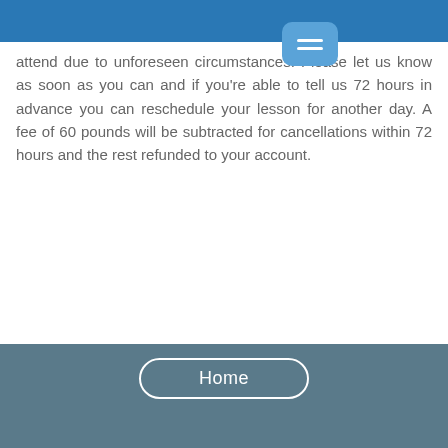attend due to unforeseen circumstances. Please let us know as soon as you can and if you're able to tell us 72 hours in advance you can reschedule your lesson for another day. A fee of 60 pounds will be subtracted for cancellations within 72 hours and the rest refunded to your account.
Contact Details
01615050423
hello@kentphotostories.co.uk
Hawkinge, Folkestone, UK
[Figure (other): Footer area with Home button and bird image on dark blue-grey background]